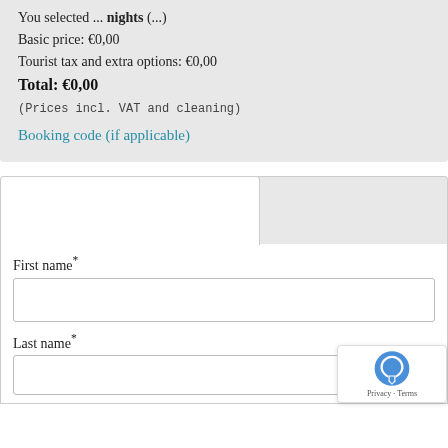You selected ... nights (...)
Basic price: €0,00
Tourist tax and extra options: €0,00
Total: €0,00
(Prices incl. VAT and cleaning)
Booking code (if applicable)
First name*
Last name*